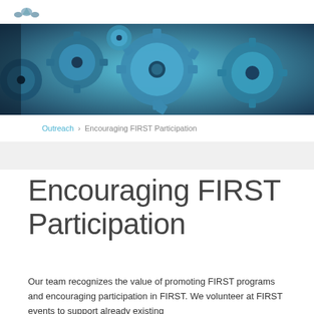[logo]
[Figure (photo): Close-up photo of interlocking metallic gears in shades of blue and teal]
Outreach   Encouraging FIRST Participation
Encouraging FIRST Participation
Our team recognizes the value of promoting FIRST programs and encouraging participation in FIRST. We volunteer at FIRST events to support already existing